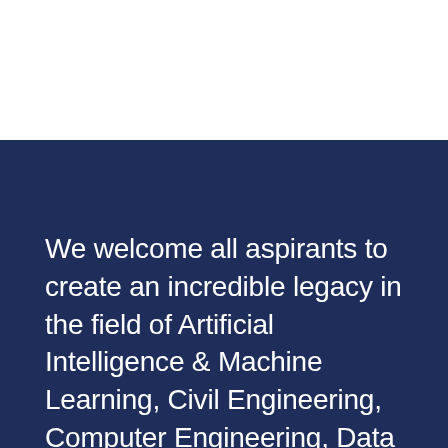We welcome all aspirants to create an incredible legacy in the field of Artificial Intelligence & Machine Learning, Civil Engineering, Computer Engineering, Data Engineering, and Information